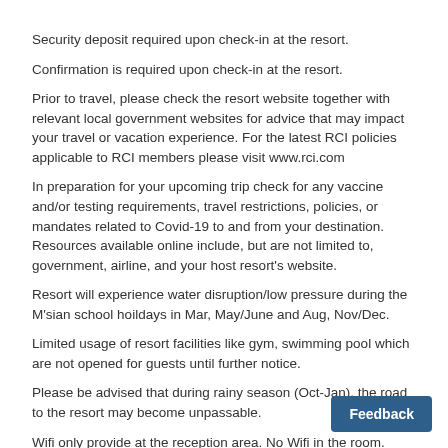Security deposit required upon check-in at the resort.
Confirmation is required upon check-in at the resort.
Prior to travel, please check the resort website together with relevant local government websites for advice that may impact your travel or vacation experience. For the latest RCI policies applicable to RCI members please visit www.rci.com
In preparation for your upcoming trip check for any vaccine and/or testing requirements, travel restrictions, policies, or mandates related to Covid-19 to and from your destination. Resources available online include, but are not limited to, government, airline, and your host resort's website.
Resort will experience water disruption/low pressure during the M'sian school hoildays in Mar, May/June and Aug, Nov/Dec.
Limited usage of resort facilities like gym, swimming pool which are not opened for guests until further notice.
Please be advised that during rainy season (Oct-Jan), the road to the resort may become unpassable.
Wifi only provide at the reception area. No Wifi in the room.